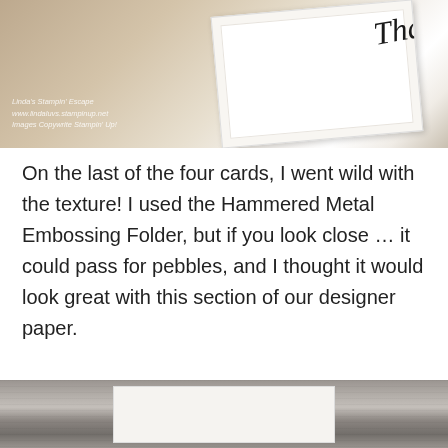[Figure (photo): Close-up photograph of a handmade card with a white embossed panel showing 'Tha...' in script lettering, laid on a brown striped textured background. Watermark reads: Linda's Stampin' Escape, www.lindaluvs.stampinup.net, Images Copywrite Stampin' Up!]
On the last of the four cards, I went wild with the texture! I used the Hammered Metal Embossing Folder, but if you look close … it could pass for pebbles, and I thought it would look great with this section of our designer paper.
[Figure (photo): Partial photograph showing a card displayed on a grey wood-grain surface, with a white card panel visible at the bottom edge of the image.]